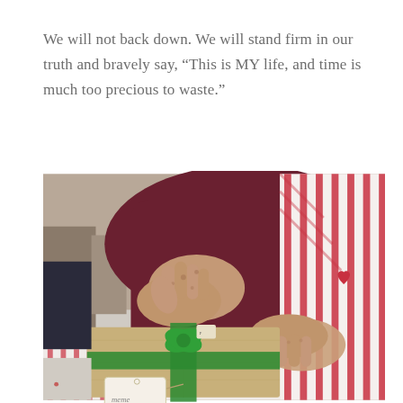We will not back down. We will stand firm in our truth and bravely say, “This is MY life, and time is much too precious to waste.”
[Figure (photo): Close-up photo of elderly person's hands resting on a red and white striped fabric, with a kraft paper wrapped gift tied with green ribbon and a gift tag reading 'meme' in the foreground. A second gift with tree pattern wrap is visible in the background.]